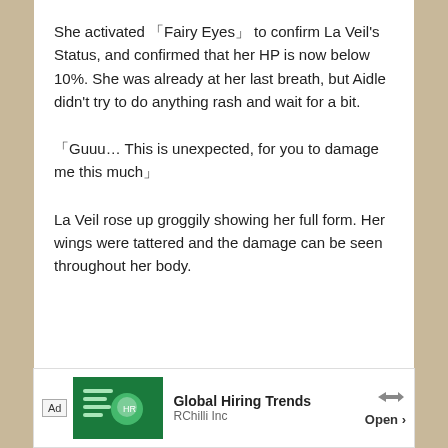She activated 「Fairy Eyes」 to confirm La Veil's Status, and confirmed that her HP is now below 10%. She was already at her last breath, but Aidle didn't try to do anything rash and wait for a bit.
「Guuu… This is unexpected, for you to damage me this much」
La Veil rose up groggily showing her full form. Her wings were tattered and the damage can be seen throughout her body.
[Figure (other): Advertisement banner for RChilli Inc showing Global Hiring Trends with a green illustration and Open button]